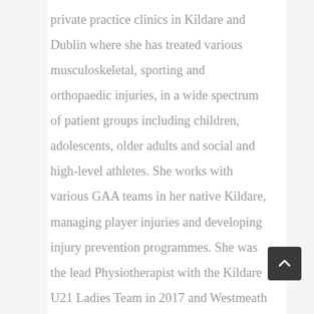private practice clinics in Kildare and Dublin where she has treated various musculoskeletal, sporting and orthopaedic injuries, in a wide spectrum of patient groups including children, adolescents, older adults and social and high-level athletes. She works with various GAA teams in her native Kildare, managing player injuries and developing injury prevention programmes. She was the lead Physiotherapist with the Kildare U21 Ladies Team in 2017 and Westmeath U[...] Football Team in 2018. She was also part of